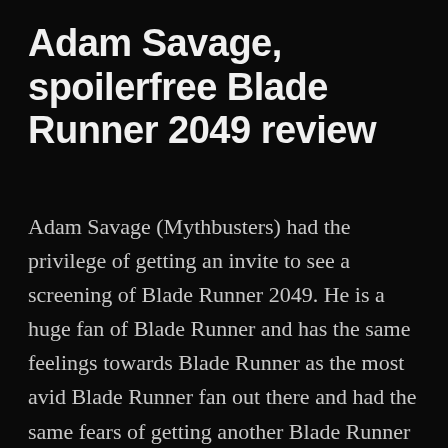Adam Savage, spoilerfree Blade Runner 2049 review
Adam Savage (Mythbusters) had the privilege of getting an invite to see a screening of Blade Runner 2049. He is a huge fan of Blade Runner and has the same feelings towards Blade Runner as the most avid Blade Runner fan out there and had the same fears of getting another Blade Runner movie as I have. The fears are now gone and I don't think he could have been more positive to Blade Runner 2049 than what he is in this “Still untitled” cast. The